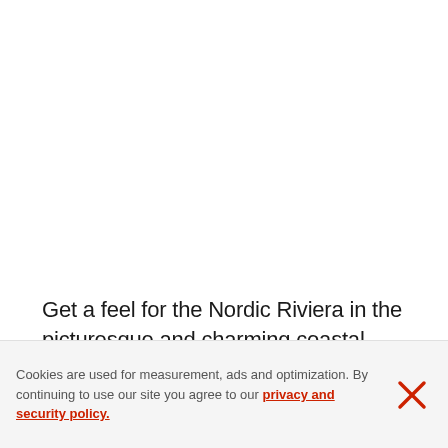Get a feel for the Nordic Riviera in the picturesque and charming coastal towns and villages. The preserved wooden towns offer cultural festivals, great restaurants and shopping in niche boutiques.
Cookies are used for measurement, ads and optimization. By continuing to use our site you agree to our privacy and security policy.